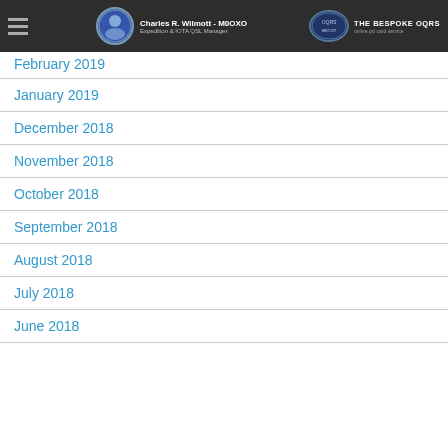Charles R. Wilmott - M0OXO | Expedition & IOTA QSL Manager | THE BESPOKE OQRS
February 2019
January 2019
December 2018
November 2018
October 2018
September 2018
August 2018
July 2018
June 2018